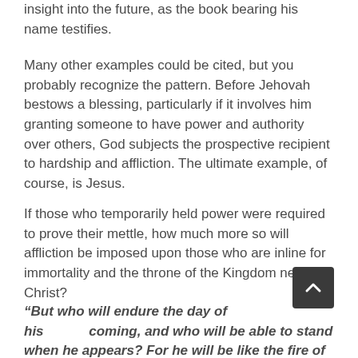insight into the future, as the book bearing his name testifies.
Many other examples could be cited, but you probably recognize the pattern. Before Jehovah bestows a blessing, particularly if it involves him granting someone to have power and authority over others, God subjects the prospective recipient to hardship and affliction. The ultimate example, of course, is Jesus.
If those who temporarily held power were required to prove their mettle, how much more so will affliction be imposed upon those who are inline for immortality and the throne of the Kingdom next to Christ?
“But who will endure the day of his coming, and who will be able to stand when he appears? For he will be like the fire of a